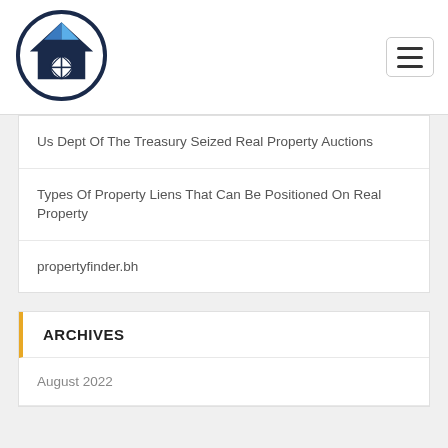[Figure (logo): Real estate property finder logo: house icon inside a circle with a globe/eye symbol, dark navy and blue colors]
Us Dept Of The Treasury Seized Real Property Auctions
Types Of Property Liens That Can Be Positioned On Real Property
propertyfinder.bh
ARCHIVES
August 2022